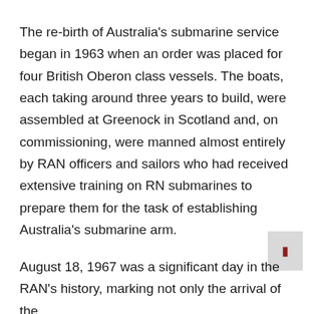The re-birth of Australia's submarine service began in 1963 when an order was placed for four British Oberon class vessels. The boats, each taking around three years to build, were assembled at Greenock in Scotland and, on commissioning, were manned almost entirely by RAN officers and sailors who had received extensive training on RN submarines to prepare them for the task of establishing Australia's submarine arm.
August 18, 1967 was a significant day in the RAN's history, marking not only the arrival of the